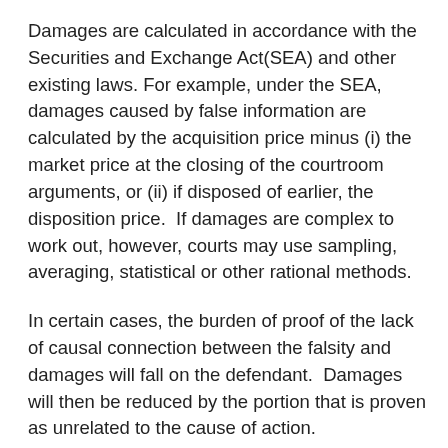Damages are calculated in accordance with the Securities and Exchange Act(SEA) and other existing laws. For example, under the SEA, damages caused by false information are calculated by the acquisition price minus (i) the market price at the closing of the courtroom arguments, or (ii) if disposed of earlier, the disposition price.  If damages are complex to work out, however, courts may use sampling, averaging, statistical or other rational methods.
In certain cases, the burden of proof of the lack of causal connection between the falsity and damages will fall on the defendant.  Damages will then be reduced by the portion that is proven as unrelated to the cause of action.
Class certification requires (i) at least 50 class members, with the total number of their shares